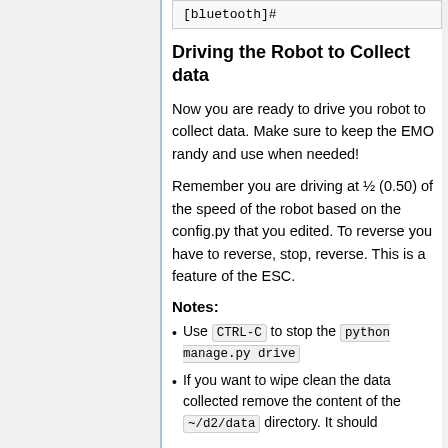[bluetooth]#
Driving the Robot to Collect data
Now you are ready to drive you robot to collect data. Make sure to keep the EMO randy and use when needed!
Remember you are driving at ½ (0.50) of the speed of the robot based on the config.py that you edited. To reverse you have to reverse, stop, reverse. This is a feature of the ESC.
Notes:
Use CTRL-C to stop the python manage.py drive
If you want to wipe clean the data collected remove the content of the ~/d2/data directory. It should